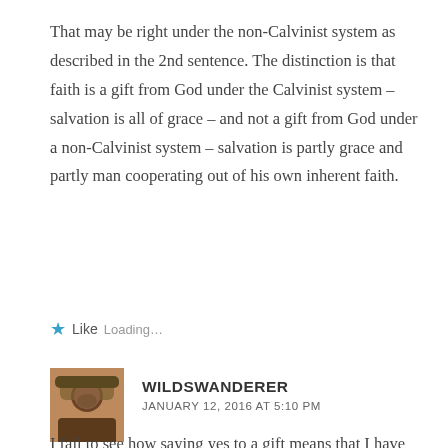That may be right under the non-Calvinist system as described in the 2nd sentence. The distinction is that faith is a gift from God under the Calvinist system – salvation is all of grace – and not a gift from God under a non-Calvinist system – salvation is partly grace and partly man cooperating out of his own inherent faith.
Like Loading...
WILDSWANDERER
JANUARY 12, 2016 AT 5:10 PM
I fail to see how saying yes to a gift means that I have somehow earned that gift. It seems that